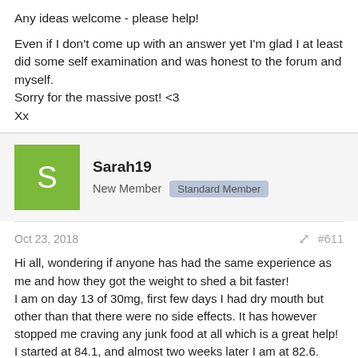Any ideas welcome - please help!
Even if I don't come up with an answer yet I'm glad I at least did some self examination and was honest to the forum and myself. Sorry for the massive post! <3
Xx
Sarah19
New Member  Standard Member
Oct 23, 2018  #611
Hi all, wondering if anyone has had the same experience as me and how they got the weight to shed a bit faster!
I am on day 13 of 30mg, first few days I had dry mouth but other than that there were no side effects. It has however stopped me craving any junk food at all which is a great help!
I started at 84.1, and almost two weeks later I am at 82.6.
I am eating lots of fruit, Veges and protein and consuming heaps of water. I have been doing hard exercise just about every day and on the weekends I've been doing 8km walks. Has anyone got any tips